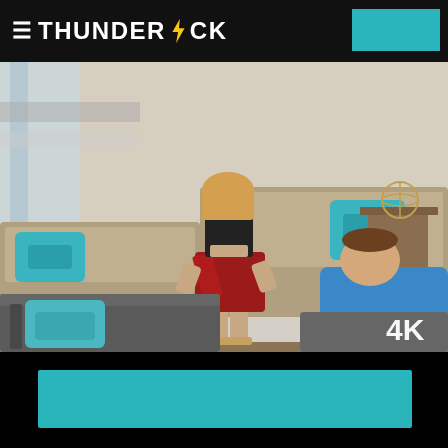THUNDERCOCK
[Figure (photo): A living room scene with a woman in a red skirt and black top lifting her skirt, viewed from behind, with a man in a blue shirt reclining on a couch watching. Teal throw pillows on couches visible. 4K badge in lower right corner.]
4K